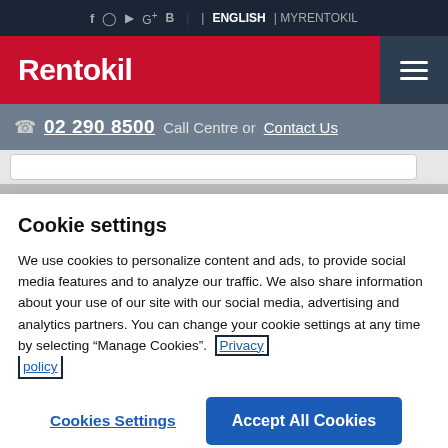f  [instagram]  [youtube]  G+  B  | ENGLISH | MYRENTOKIL
Rentokil
02 290 8500  Call Centre or Contact Us
Phuket Pest trend
Cookie settings
We use cookies to personalize content and ads, to provide social media features and to analyze our traffic. We also share information about your use of our site with our social media, advertising and analytics partners. You can change your cookie settings at any time by selecting "Manage Cookies". Privacy policy
Cookies Settings    Accept All Cookies